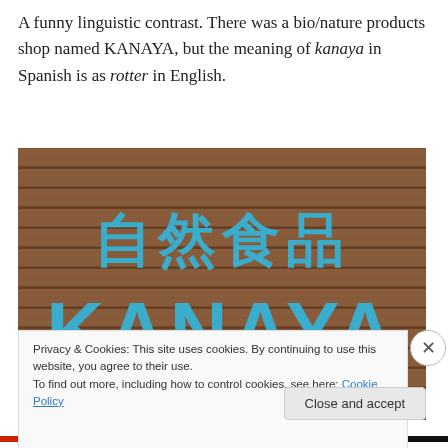A funny linguistic contrast. There was a bio/nature products shop named KANAYA, but the meaning of kanaya in Spanish is as rotter in English.
[Figure (photo): A wooden sign with blue lettering showing Japanese characters '自然食品' (meaning natural/organic food) above the word 'KANAYA' in large teal/blue letters on horizontal wooden planks.]
Privacy & Cookies: This site uses cookies. By continuing to use this website, you agree to their use. To find out more, including how to control cookies, see here: Cookie Policy
Close and accept